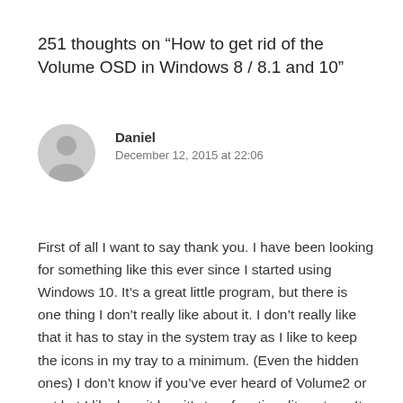251 thoughts on “How to get rid of the Volume OSD in Windows 8 / 8.1 and 10”
Daniel
December 12, 2015 at 22:06
First of all I want to say thank you. I have been looking for something like this ever since I started using Windows 10. It’s a great little program, but there is one thing I don’t really like about it. I don’t really like that it has to stay in the system tray as I like to keep the icons in my tray to a minimum. (Even the hidden ones) I don’t know if you’ve ever heard of Volume2 or not but I like how it has it’s tray functionality set up. It has the ability to turn off the tray icon and if you ever want to see the settings all you have to do is open the exe like your